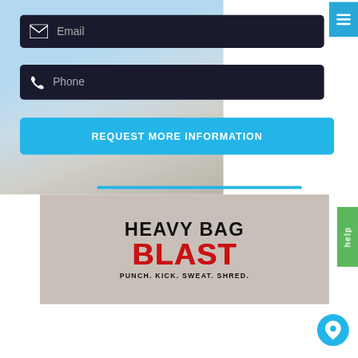[Figure (screenshot): Email input field with dark background and email icon]
[Figure (screenshot): Phone input field with dark background and phone icon]
[Figure (screenshot): Blue button labeled REQUEST MORE INFORMATION]
[Figure (screenshot): Heavy Bag Blast promotional image with text HEAVY BAG BLAST PUNCH. KICK. SWEAT. SHRED. on grey background]
[Figure (screenshot): Green help button on right side]
[Figure (screenshot): Blue circular location/map pin button at bottom right]